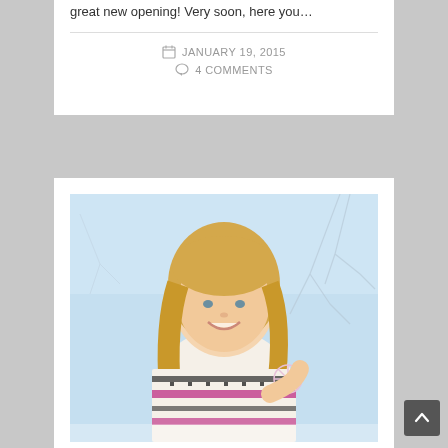great new opening! Very soon, here you...
JANUARY 19, 2015
4 COMMENTS
[Figure (photo): A smiling young girl with blonde hair wearing a patterned fair-isle sweater, holding a decorative snowflake, with a winter/snowy background with bare branches]
Merry Christmas and Happy New Year...